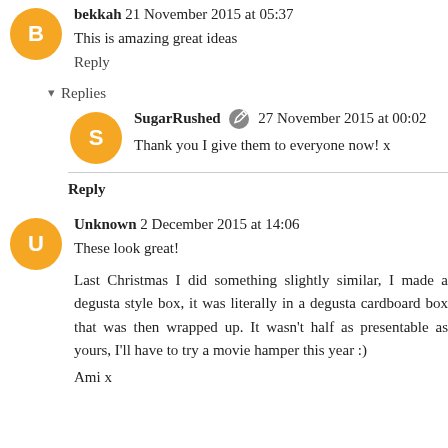bekkah 21 November 2015 at 05:37
This is amazing great ideas
Reply
Replies
SugarRushed 27 November 2015 at 00:02
Thank you I give them to everyone now! x
Reply
Unknown 2 December 2015 at 14:06
These look great!
Last Christmas I did something slightly similar, I made a degusta style box, it was literally in a degusta cardboard box that was then wrapped up. It wasn't half as presentable as yours, I'll have to try a movie hamper this year :)
Ami x